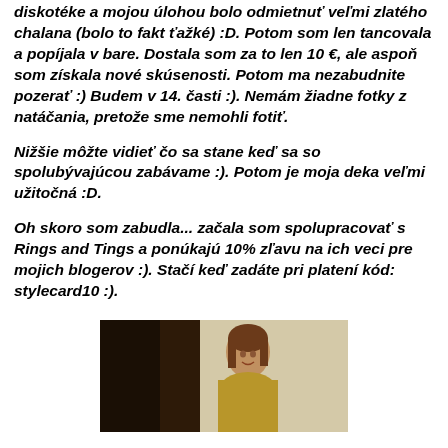diskotéke a mojou úlohou bolo odmietnuť veľmi zlatého chalana (bolo to fakt ťažké) :D. Potom som len tancovala a popíjala v bare. Dostala som za to len 10 €, ale aspoň som získala nové skúsenosti. Potom ma nezabudnite pozerať :) Budem v 14. časti :). Nemám žiadne fotky z natáčania, pretože sme nemohli fotiť.
Nižšie môžte vidieť čo sa stane keď sa so spolubývajúcou zabávame :). Potom je moja deka veľmi užitočná :D.
Oh skoro som zabudla... začala som spolupracovať s Rings and Tings a ponúkajú 10% zľavu na ich veci pre mojich blogerov :). Stačí keď zadáte pri platení kód: stylecard10 :).
[Figure (photo): A young woman with brown hair smiling, photographed indoors against a dark and light background]